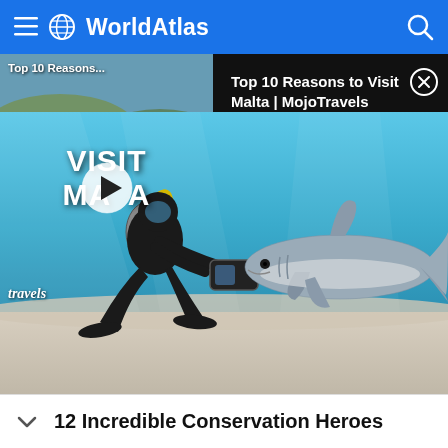WorldAtlas
[Figure (screenshot): Video thumbnail showing 'Top 10 Reasons... Visit Malta' travel video with beach/harbour scene, Malta text overlay, and play button]
[Figure (screenshot): Dark advertisement panel: 'Top 10 Reasons to Visit Malta | MojoTravels' with close (X) button]
[Figure (photo): Underwater photo of a scuba diver kneeling on sandy ocean floor photographing a shark close up]
12 Incredible Conservation Heroes